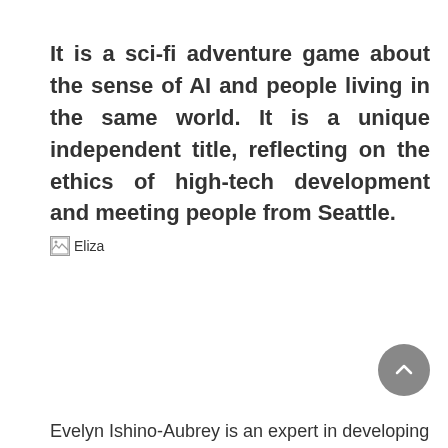It is a sci-fi adventure game about the sense of AI and people living in the same world. It is a unique independent title, reflecting on the ethics of high-tech development and meeting people from Seattle.
[Figure (photo): Broken image placeholder with alt text 'Eliza']
Evelyn Ishino-Aubrey is an expert in developing